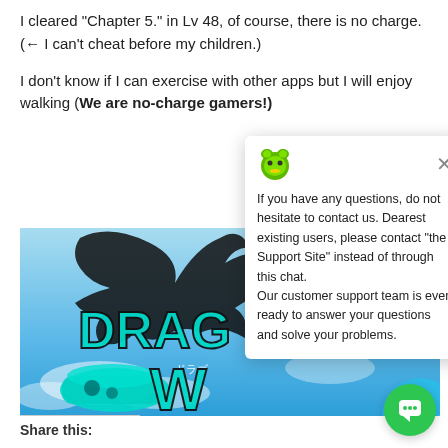I cleared "Chapter 5." in Lv 48, of course, there is no charge. (← I can't cheat before my children.)
I don't know if I can exercise with other apps but I will enjoy walking (We are no-charge gamers!)
[Figure (screenshot): Dragon Walk game logo on a blue sky background with a dragon silhouette and teal sneaker]
If you have any questions, do not hesitate to contact us. Dearest existing users, please contact "the Support Site" instead of through this chat. Our customer support team is ever ready to answer your questions and solve your problems.
Share this: